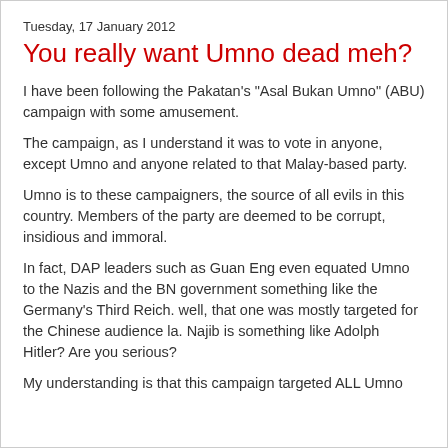Tuesday, 17 January 2012
You really want Umno dead meh?
I have been following the Pakatan's "Asal Bukan Umno" (ABU) campaign with some amusement.
The campaign, as I understand it was to vote in anyone, except Umno and anyone related to that Malay-based party.
Umno is to these campaigners, the source of all evils in this country. Members of the party are deemed to be corrupt, insidious and immoral.
In fact, DAP leaders such as Guan Eng even equated Umno to the Nazis and the BN government something like the Germany's Third Reich. well, that one was mostly targeted for the Chinese audience la. Najib is something like Adolph Hitler? Are you serious?
My understanding is that this campaign targeted ALL Umno members, which means the whole of their membership...